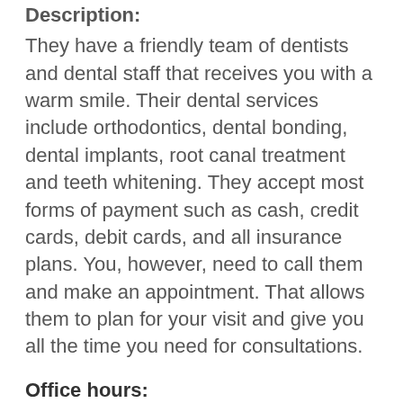Description:
They have a friendly team of dentists and dental staff that receives you with a warm smile. Their dental services include orthodontics, dental bonding, dental implants, root canal treatment and teeth whitening. They accept most forms of payment such as cash, credit cards, debit cards, and all insurance plans. You, however, need to call them and make an appointment. That allows them to plan for your visit and give you all the time you need for consultations.
Office hours:
Monday – Closed